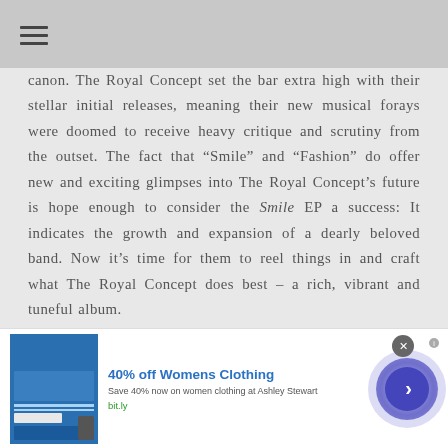canon. The Royal Concept set the bar extra high with their stellar initial releases, meaning their new musical forays were doomed to receive heavy critique and scrutiny from the outset. The fact that “Smile” and “Fashion” do offer new and exciting glimpses into The Royal Concept’s future is hope enough to consider the Smile EP a success: It indicates the growth and expansion of a dearly beloved band. Now it’s time for them to reel things in and craft what The Royal Concept does best – a rich, vibrant and tuneful album.
[Figure (other): Advertisement banner: 40% off Womens Clothing. Save 40% now on women clothing at Ashley Stewart. bit.ly]